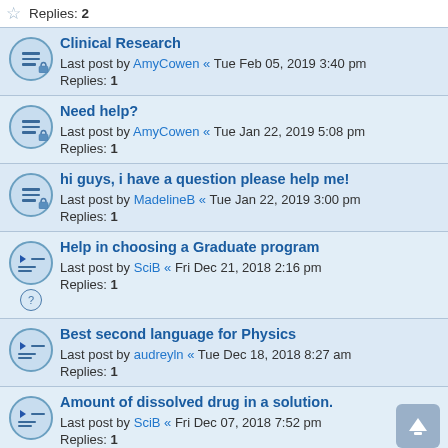Replies: 2
Clinical Research
Last post by AmyCowen « Tue Feb 05, 2019 3:40 pm
Replies: 1
Need help?
Last post by AmyCowen « Tue Jan 22, 2019 5:08 pm
Replies: 1
hi guys, i have a question please help me!
Last post by MadelineB « Tue Jan 22, 2019 3:00 pm
Replies: 1
Help in choosing a Graduate program
Last post by SciB « Fri Dec 21, 2018 2:16 pm
Replies: 1
Best second language for Physics
Last post by audreyln « Tue Dec 18, 2018 8:27 am
Replies: 1
Amount of dissolved drug in a solution.
Last post by SciB « Fri Dec 07, 2018 7:52 pm
Replies: 1
Hacking air gapped Computer